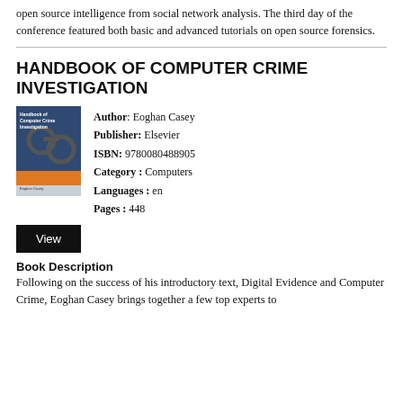open source intelligence from social network analysis. The third day of the conference featured both basic and advanced tutorials on open source forensics.
HANDBOOK OF COMPUTER CRIME INVESTIGATION
[Figure (illustration): Book cover of Handbook of Computer Crime Investigation showing a blue cover with handcuffs imagery and orange strip at bottom]
Author: Eoghan Casey
Publisher: Elsevier
ISBN: 9780080488905
Category: Computers
Languages: en
Pages: 448
View
Book Description
Following on the success of his introductory text, Digital Evidence and Computer Crime, Eoghan Casey brings together a few top experts to